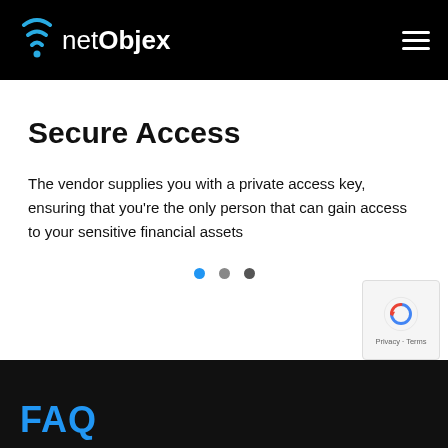netObjex
Secure Access
The vendor supplies you with a private access key, ensuring that you're the only person that can gain access to your sensitive financial assets
[Figure (infographic): Three navigation dots: first dot is blue (active), second and third dots are dark grey]
FAQ